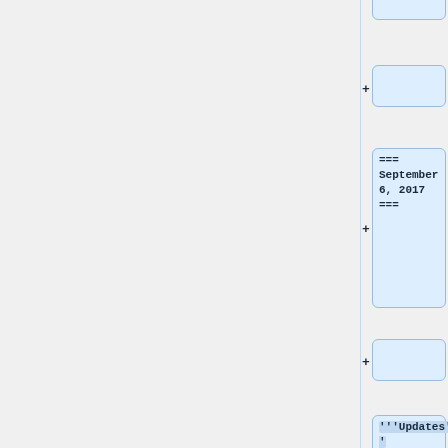independent.
+
=== September 6, 2017 ===
+
'''Updates'''
+
* [RR] Fixes for scikit-learn, tables, usagestats
+
'''Items to